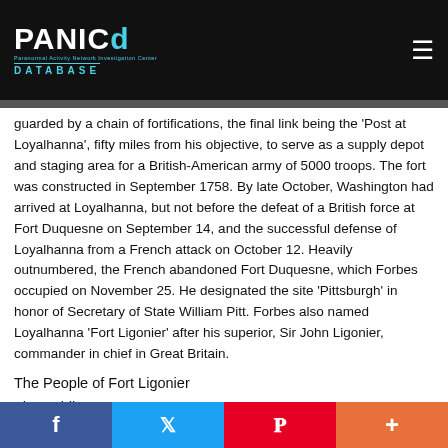PANICd DATABASE — Paranormal Activity Network Investigation Center Database
guarded by a chain of fortifications, the final link being the 'Post at Loyalhanna', fifty miles from his objective, to serve as a supply depot and staging area for a British-American army of 5000 troops. The fort was constructed in September 1758. By late October, Washington had arrived at Loyalhanna, but not before the defeat of a British force at Fort Duquesne on September 14, and the successful defense of Loyalhanna from a French attack on October 12. Heavily outnumbered, the French abandoned Fort Duquesne, which Forbes occupied on November 25. He designated the site 'Pittsburgh' in honor of Secretary of State William Pitt. Forbes also named Loyalhanna 'Fort Ligonier' after his superior, Sir John Ligonier, commander in chief in Great Britain.
The People of Fort Ligonier
The Soldier
Several distinct types of armed fighting men served the British Crown during the French and Indian War and were present at